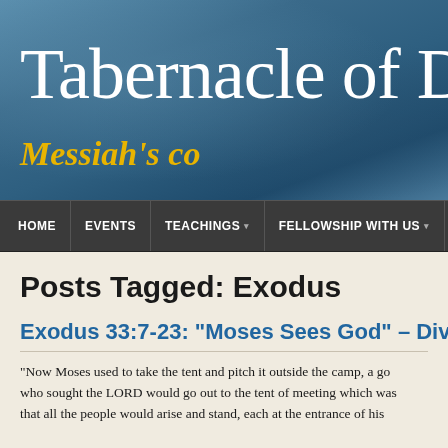[Figure (screenshot): Website header banner with blue textured background showing 'Tabernacle of Da...' in white serif font and 'Messiah's co...' in gold italic text]
HOME | EVENTS | TEACHINGS ▾ | FELLOWSHIP WITH US ▾ | CO...
Posts Tagged: Exodus
Exodus 33:7-23: “Moses Sees God” – Divin...
“Now Moses used to take the tent and pitch it outside the camp, a go... who sought the LORD would go out to the tent of meeting which was... that all the people would arise and stand, each at the entrance of his...